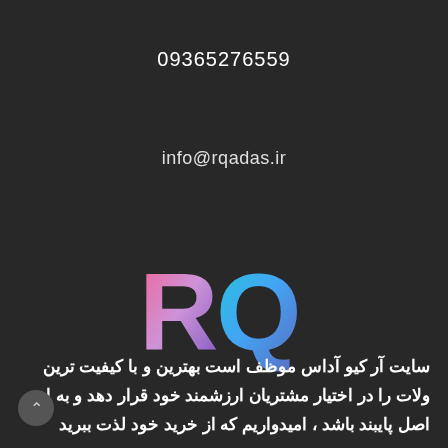09365276559
info@rqadas.ir
[Figure (logo): RQ logo with pink-to-purple gradient R letter and teal-to-blue gradient Q letter on dark background]
سایت آر کیو آداس موظف است بهترین و با کیفیت ترین
ولات را در اختیار مشتریان ارزشمند خود قرار دهد و به این
اصل پایبند باشد ، امیدواریم که از خرید خود لذت ببرید